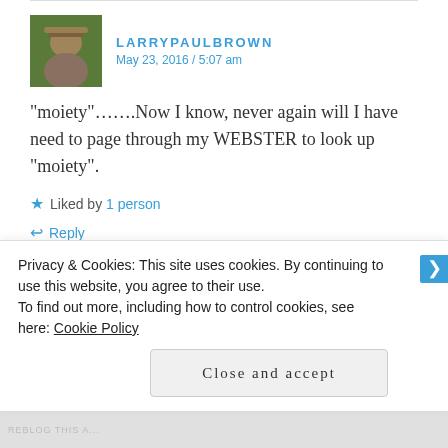LARRYPAULBROWN — May 23, 2016 / 5:07 am
“moiety”…….Now I know, never again will I have need to page through my WEBSTER to look up “moiety”.
Liked by 1 person
Reply
TOUTPARMOI
Privacy & Cookies: This site uses cookies. By continuing to use this website, you agree to their use.
To find out more, including how to control cookies, see here: Cookie Policy
Close and accept